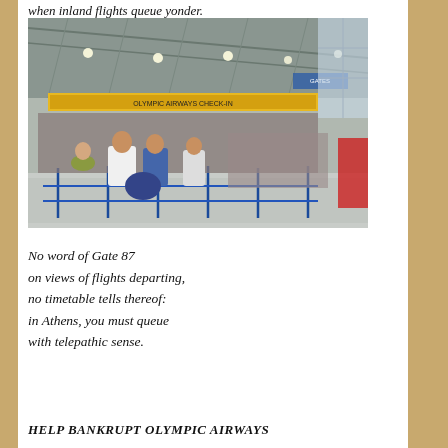when inland flights queue yonder.
[Figure (photo): Interior of a busy airport terminal with large crowds of passengers queuing at check-in counters. The terminal has a high steel-truss ceiling with lights, yellow signage banners overhead, and large windows on the right side. Blue queue barriers separate rows of travelers.]
No word of Gate 87
on views of flights departing,
no timetable tells thereof:
in Athens, you must queue
with telepathic sense.
HELP BANKRUPT OLYMPIC AIRWAYS